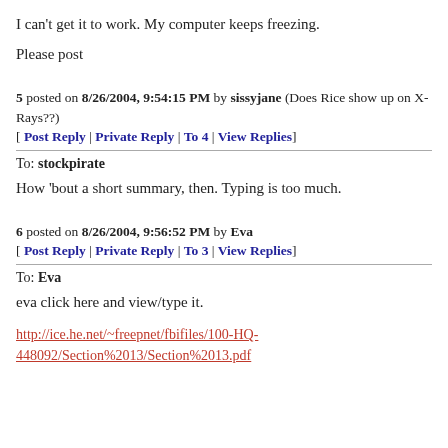I can't get it to work. My computer keeps freezing.
Please post
5 posted on 8/26/2004, 9:54:15 PM by sissyjane (Does Rice show up on X-Rays??)
[ Post Reply | Private Reply | To 4 | View Replies]
To: stockpirate
How 'bout a short summary, then. Typing is too much.
6 posted on 8/26/2004, 9:56:52 PM by Eva
[ Post Reply | Private Reply | To 3 | View Replies]
To: Eva
eva click here and view/type it.
http://ice.he.net/~freepnet/fbifiles/100-HQ-448092/Section%2013/Section%2013.pdf